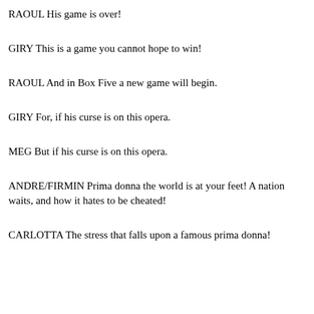RAOUL His game is over!
GIRY This is a game you cannot hope to win!
RAOUL And in Box Five a new game will begin.
GIRY For, if his curse is on this opera.
MEG But if his curse is on this opera.
ANDRE/FIRMIN Prima donna the world is at your feet! A nation waits, and how it hates to be cheated!
CARLOTTA The stress that falls upon a famous prima donna!